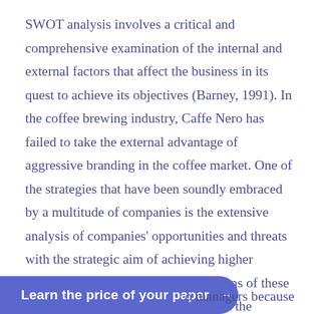SWOT analysis involves a critical and comprehensive examination of the internal and external factors that affect the business in its quest to achieve its objectives (Barney, 1991). In the coffee brewing industry, Caffe Nero has failed to take the external advantage of aggressive branding in the coffee market. One of the strategies that have been soundly embraced by a multitude of companies is the extensive analysis of companies' opportunities and threats with the strategic aim of achieving higher competitive advantage. The realizations of these objectives have been attained through the successful initiation, development and management of brands in most instances which has not been exploited by Caffe Nero coffee house. The inefficient management of brands
o managers because